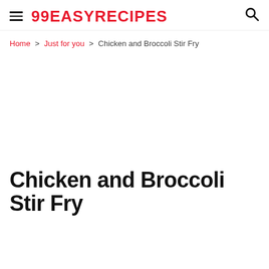99EASYRECIPES
Home > Just for you > Chicken and Broccoli Stir Fry
Chicken and Broccoli Stir Fry